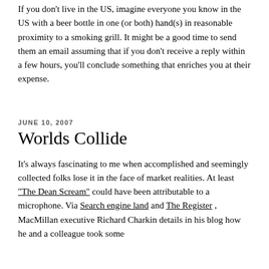If you don't live in the US, imagine everyone you know in the US with a beer bottle in one (or both) hand(s) in reasonable proximity to a smoking grill. It might be a good time to send them an email assuming that if you don't receive a reply within a few hours, you'll conclude something that enriches you at their expense.
JUNE 10, 2007
Worlds Collide
It's always fascinating to me when accomplished and seemingly collected folks lose it in the face of market realities. At least "The Dean Scream" could have been attributable to a microphone. Via Search engine land and The Register, MacMillan executive Richard Charkin details in his blog how he and a colleague took some